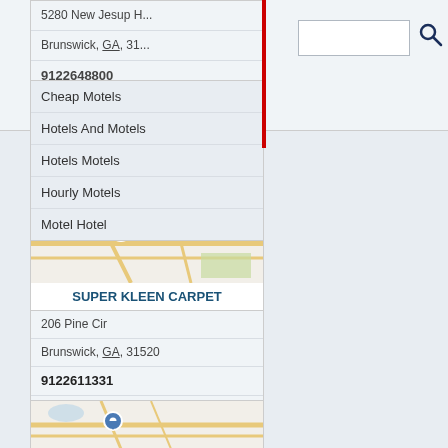5280 New Jesup H...
Brunswick, GA, 31...
9122648800
Cheap Motels
Hotels And Motels
Hotels Motels
Hourly Motels
Motel Hotel
[Figure (map): Map showing location of Super Kleen Carpet in Brunswick, GA with a blue pin marker]
SUPER KLEEN CARPET
206 Pine Cir
Brunswick, GA, 31520
9122611331
Carpet Cleaners
Carpet Cleaning
Carpet Rug Cleaners
[Figure (map): Partial map showing location of another business in Brunswick, GA with a blue pin marker]